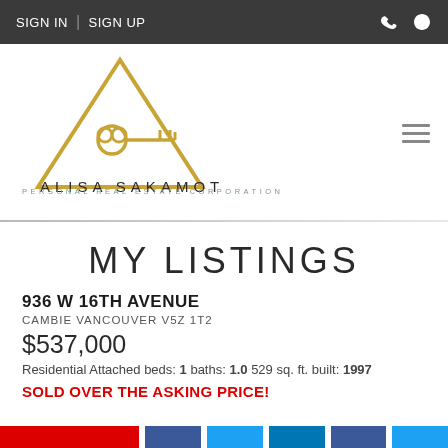SIGN IN | SIGN UP
[Figure (logo): Alisa Sakamoto Personal Real Estate Corporation logo — gold triangle with key inside, brand name below]
MY LISTINGS
936 W 16TH AVENUE
CAMBIE VANCOUVER V5Z 1T2
$537,000
Residential Attached beds: 1 baths: 1.0 529 sq. ft. built: 1997
SOLD OVER THE ASKING PRICE!